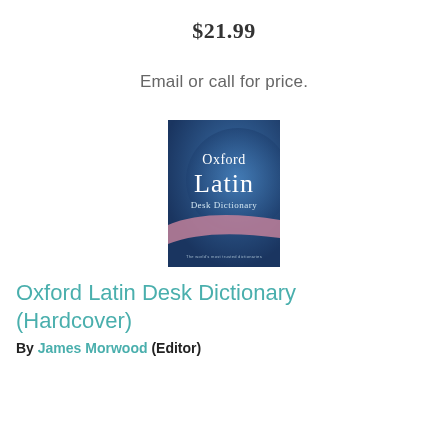$21.99
Email or call for price.
[Figure (photo): Book cover of Oxford Latin Desk Dictionary, showing a blue background with the words 'Oxford Latin Desk Dictionary' in white text and a decorative swoosh element.]
Oxford Latin Desk Dictionary (Hardcover)
By James Morwood (Editor)